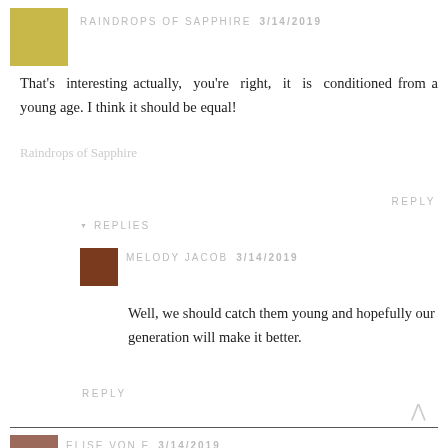[Figure (photo): Profile photo of RaindropsOfSapphire - woman with yellow/green background]
RAINDROPS OF SAPPHIRE  3/14/2019
That's  interesting  actually,  you're  right,  it  is  conditioned from a young age. I think it should be equal!
Raindrops of Sapphire
REPLY
▼ REPLIES
[Figure (photo): Profile photo of Melody Jacob]
MELODY JACOB  3/14/2019
Well, we should catch them young and hopefully our generation will make it better.
REPLY
[Figure (photo): Scroll to top arrow symbol]
[Figure (photo): Profile photo of Elise Von E]
ELISE VON E  3/14/2019